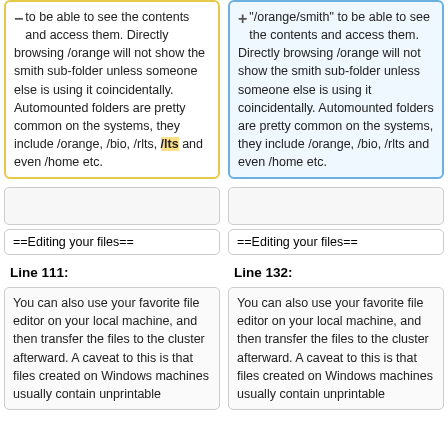to be able to see the contents and access them. Directly browsing /orange will not show the smith sub-folder unless someone else is using it coincidentally. Automounted folders are pretty common on the systems, they include /orange, /bio, /rlts, /lts and even /home etc.
"/orange/smith" to be able to see the contents and access them. Directly browsing /orange will not show the smith sub-folder unless someone else is using it coincidentally. Automounted folders are pretty common on the systems, they include /orange, /bio, /rlts and even /home etc.
==Editing your files==
==Editing your files==
Line 111:
Line 132:
You can also use your favorite file editor on your local machine, and then transfer the files to the cluster afterward. A caveat to this is that files created on Windows machines usually contain unprintable
You can also use your favorite file editor on your local machine, and then transfer the files to the cluster afterward. A caveat to this is that files created on Windows machines usually contain unprintable